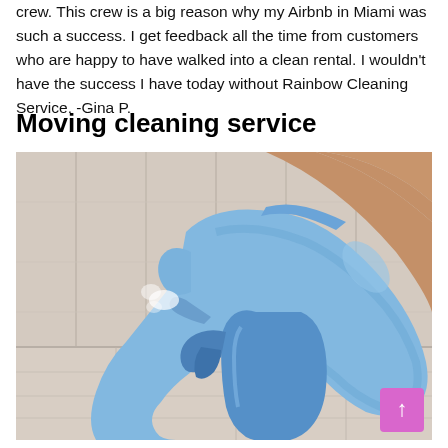crew. This crew is a big reason why my Airbnb in Miami was such a success. I get feedback all the time from customers who are happy to have walked into a clean rental. I wouldn't have the success I have today without Rainbow Cleaning Service. -Gina P.
Moving cleaning service
[Figure (photo): A hand wearing a blue latex glove holding a blue spray bottle, in front of wooden plank wall and floor background.]